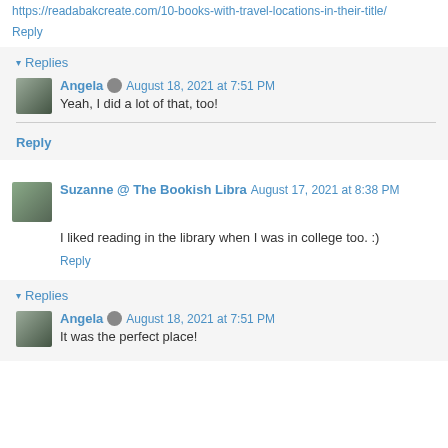https://readabakcreate.com/10-books-with-travel-locations-in-their-title/
Reply
▾ Replies
Angela  August 18, 2021 at 7:51 PM
Yeah, I did a lot of that, too!
Reply
Suzanne @ The Bookish Libra  August 17, 2021 at 8:38 PM
I liked reading in the library when I was in college too. :)
Reply
▾ Replies
Angela  August 18, 2021 at 7:51 PM
It was the perfect place!